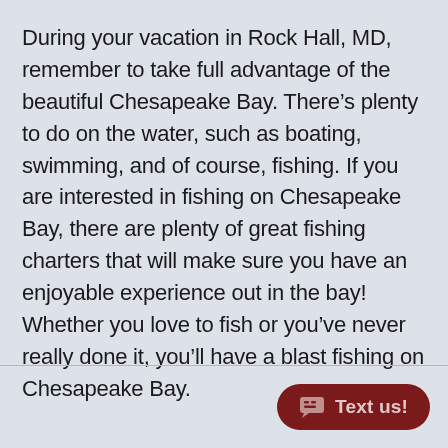During your vacation in Rock Hall, MD, remember to take full advantage of the beautiful Chesapeake Bay. There’s plenty to do on the water, such as boating, swimming, and of course, fishing. If you are interested in fishing on Chesapeake Bay, there are plenty of great fishing charters that will make sure you have an enjoyable experience out in the bay! Whether you love to fish or you’ve never really done it, you’ll have a blast fishing on Chesapeake Bay.